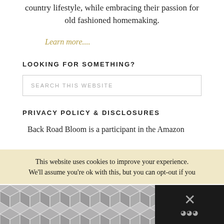country lifestyle, while embracing their passion for old fashioned homemaking.
Learn more....
LOOKING FOR SOMETHING?
SEARCH THIS WEBSITE
PRIVACY POLICY & DISCLOSURES
Back Road Bloom is a participant in the Amazon
This website uses cookies to improve your experience. We'll assume you're ok with this, but you can opt-out if you
[Figure (other): Geometric diamond/hexagon pattern in gray on dark background, with an X close button and a menu icon on the right side]